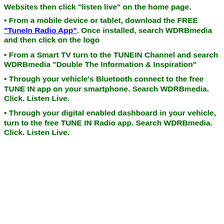Websites then click "listen live" on the home page.
• From a mobile device or tablet, download the FREE "TuneIn Radio App". Once installed, search WDRBmedia and then click on the logo
• From a Smart TV turn to the TUNEIN Channel and search WDRBmedia "Double The Information & Inspiration"
• Through your vehicle's Bluetooth connect to the free TUNE IN app on your smartphone. Search WDRBmedia. Click. Listen Live.
• Through your digital enabled dashboard in your vehicle, turn to the free TUNE IN Radio app. Search WDRBmedia. Click. Listen Live.